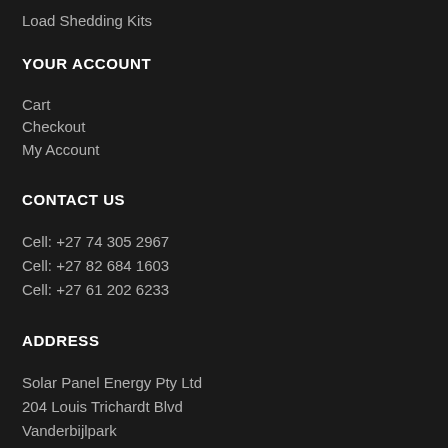Load Shedding Kits
YOUR ACCOUNT
Cart
Checkout
My Account
CONTACT US
Cell: +27 74 305 2967
Cell: +27 82 684 1603
Cell: +27 61 202 6233
ADDRESS
Solar Panel Energy Pty Ltd
204 Louis Trichardt Blvd
Vanderbijlpark
Gauteng
South Africa
1911